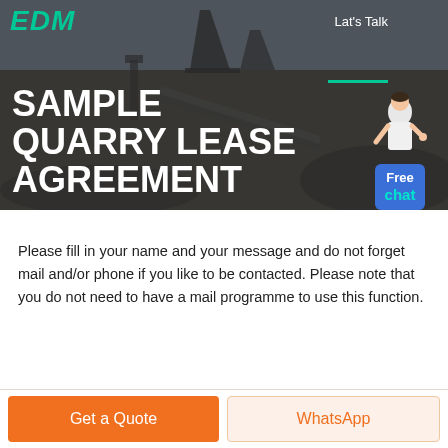[Figure (photo): Hero banner with quarry machinery background, dark overlay. Shows logo 'EDM' in teal/green italic text top left, 'Lat's Talk' text top right with green underline, and a chat widget with person illustration and blue 'Free chat' button bottom right.]
SAMPLE QUARRY LEASE AGREEMENT
Please fill in your name and your message and do not forget mail and/or phone if you like to be contacted. Please note that you do not need to have a mail programme to use this function.
Get a Quote
WhatsApp